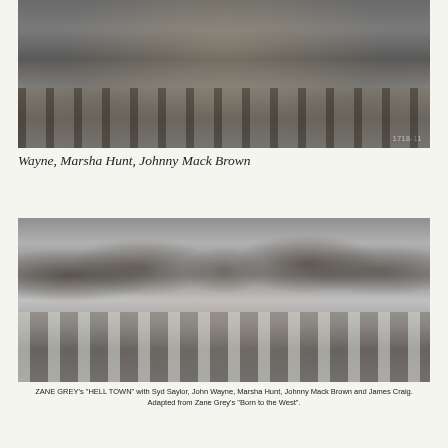[Figure (photo): Black and white photo (top portion cropped) showing close-up of figures near a saddle or fence, partial view of bodies and hands.]
Wayne, Marsha Hunt, Johnny Mack Brown
[Figure (photo): Black and white group photo of five actors in Western cowboy attire leaning against a wooden fence: Syd Saylor, John Wayne, Marsha Hunt, Johnny Mack Brown, and James Craig. From ZANE GREY's 'HELL TOWN'.]
ZANE GREY's "HELL TOWN" with Syd Saylor, John Wayne, Marsha Hunt, Johnny Mack Brown and James Craig. Adapted from Zane Grey's "Born to the West".
[Figure (photo): Partial black and white photo showing the top of a person's head with a hat, cropped at bottom of page.]